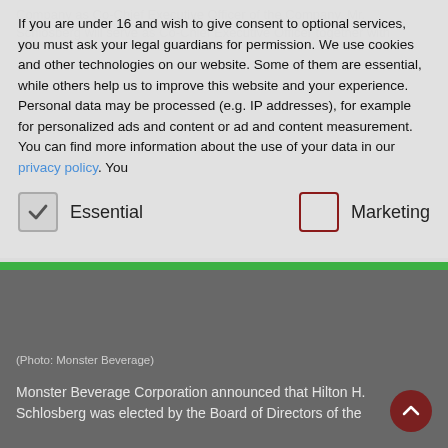If you are under 16 and wish to give consent to optional services, you must ask your legal guardians for permission. We use cookies and other technologies on our website. Some of them are essential, while others help us to improve this website and your experience. Personal data may be processed (e.g. IP addresses), for example for personalized ads and content or ad and content measurement. You can find more information about the use of your data in our privacy policy. You
Essential
Marketing
[Figure (photo): Dark gray rectangle representing a photo placeholder with Monster Beverage branding]
(Photo: Monster Beverage)
Monster Beverage Corporation announced that Hilton H. Schlosberg was elected by the Board of Directors of the